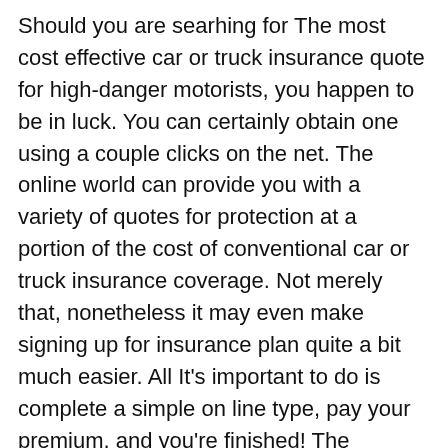Should you are searhing for The most cost effective car or truck insurance quote for high-danger motorists, you happen to be in luck. You can certainly obtain one using a couple clicks on the net. The online world can provide you with a variety of quotes for protection at a portion of the cost of conventional car or truck insurance coverage. Not merely that, nonetheless it may even make signing up for insurance plan quite a bit much easier. All It's important to do is complete a simple on line type, pay your premium, and you're finished! The insurance company will then print you a card as evidence within your insurance plan coverage and you'll have a plan within the road.
Should you have a lousy credit score record, you might be regarded a significant-possibility driver by numerous insurance firms. This is because you usually tend to file an insurance policies declare than a driver with excellent credit history. Your credit score rating is a Consider how insura policy corporations view you, along with a preceding